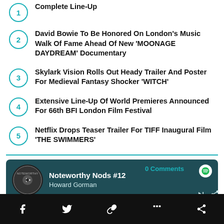Complete Line-Up
David Bowie To Be Honored On London's Music Walk Of Fame Ahead Of New 'MOONAGE DAYDREAM' Documentary
Skylark Vision Rolls Out Heady Trailer And Poster For Medieval Fantasy Shocker 'WITCH'
Extensive Line-Up Of World Premieres Announced For 66th BFI London Film Festival
Netflix Drops Teaser Trailer For TIFF Inaugural Film 'THE SWIMMERS'
[Figure (screenshot): Spotify widget showing 'Noteworthy Nods #12' by Howard Gorman with teal dark background, play button, and Spotify logo]
0 Comments | Facebook share | Twitter share | Link share | player controls